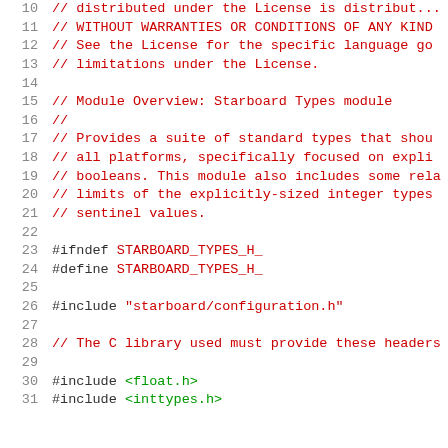10  // distributed under the License is distributed...
11  // WITHOUT WARRANTIES OR CONDITIONS OF ANY KIND...
12  // See the License for the specific language go...
13  // limitations under the License.
14
15  // Module Overview: Starboard Types module
16  //
17  // Provides a suite of standard types that shou...
18  // all platforms, specifically focused on expli...
19  // booleans. This module also includes some rela...
20  // limits of the explicitly-sized integer types...
21  // sentinel values.
22
23  #ifndef STARBOARD_TYPES_H_
24  #define STARBOARD_TYPES_H_
25
26  #include "starboard/configuration.h"
27
28  // The C library used must provide these headers...
29
30  #include <float.h>
31  #include <inttypes.h>